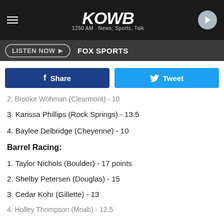KOWB 1250 AM News, Sports, Talk
LISTEN NOW | FOX SPORTS
Share | Tweet
2. Brooke Wohman (Clearmont) - 10
3. Karissa Phillips (Rock Springs) - 13.5
4. Baylee Delbridge (Cheyenne) - 10
Barrel Racing:
1. Taylor Nichols (Boulder) - 17 points
2. Shelby Petersen (Douglas) - 15
3. Cedar Kohr (Gillette) - 13
4. Holley Thompson (Moab) - 12.5